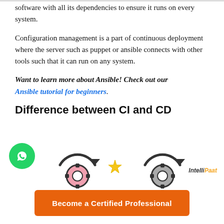software with all its dependencies to ensure it runs on every system.
Configuration management is a part of continuous deployment where the server such as puppet or ansible connects with other tools such that it can run on any system.
Want to learn more about Ansible! Check out our Ansible tutorial for beginners.
Difference between CI and CD
[Figure (illustration): Partial diagram showing CI/CD gear icons with an IntelliPaat logo in the top right corner]
[Figure (other): WhatsApp floating button (green circle with phone icon)]
Become a Certified Professional